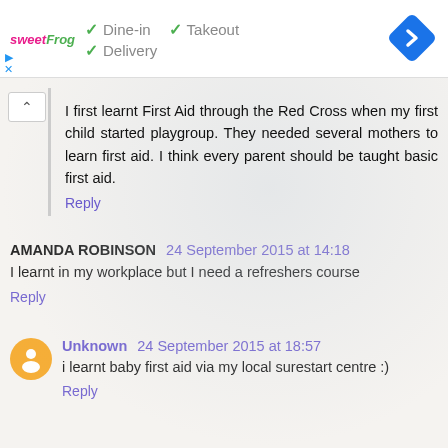[Figure (infographic): Ad banner with sweetFrog logo, checkmarks for Dine-in, Takeout, Delivery, and a blue navigation diamond icon]
I first learnt First Aid through the Red Cross when my first child started playgroup. They needed several mothers to learn first aid. I think every parent should be taught basic first aid.
Reply
AMANDA ROBINSON 24 September 2015 at 14:18
I learnt in my workplace but I need a refreshers course
Reply
Unknown 24 September 2015 at 18:57
i learnt baby first aid via my local surestart centre :)
Reply